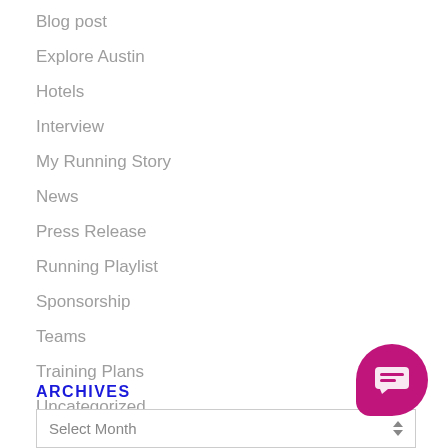Blog post
Explore Austin
Hotels
Interview
My Running Story
News
Press Release
Running Playlist
Sponsorship
Teams
Training Plans
Uncategorized
Welcome
ARCHIVES
Select Month